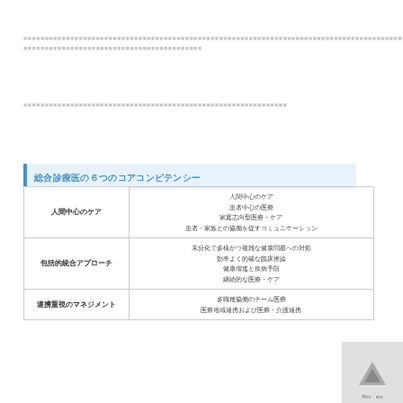（長い日本語テキストブロック１）
（長い日本語テキストブロック２）
総合診療医の６つのコアコンピテンシー
|  |  |
| --- | --- |
| 人間中心のケア | 人間中心のケア
患者中心の医療
家庭志向型医療・ケア
患者・家族との協働を促すコミュニケーション |
| 包括的統合アプローチ | 未分化で多様かつ複雑な健康問題への対処
効率よく的確な臨床推論
健康増進と疾病予防
継続的な医療・ケア |
| 連携重視のマネジメント | 多職種協働のチーム医療
医療地域連携および医療・介護連携 |